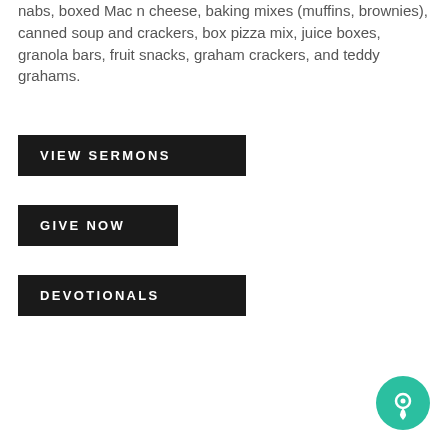nabs, boxed Mac n cheese, baking mixes (muffins, brownies), canned soup and crackers, box pizza mix, juice boxes, granola bars, fruit snacks, graham crackers, and teddy grahams.
VIEW SERMONS
GIVE NOW
DEVOTIONALS
[Figure (other): Teal circular location/map pin button icon]